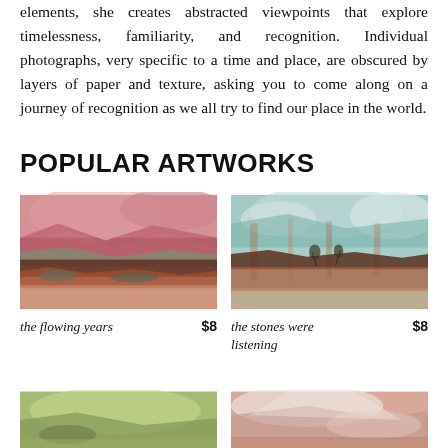elements, she creates abstracted viewpoints that explore timelessness, familiarity, and recognition. Individual photographs, very specific to a time and place, are obscured by layers of paper and texture, asking you to come along on a journey of recognition as we all try to find our place in the world.
POPULAR ARTWORKS
[Figure (illustration): Abstract layered landscape artwork in warm pink, red, brown and green tones — 'the flowing years']
the flowing years   $8
[Figure (illustration): Abstract layered landscape artwork in teal, blue, rust and brown tones — 'the stones were listening']
the stones were listening   $8
[Figure (illustration): Abstract layered landscape artwork in green and yellow-green tones — partial view at bottom]
[Figure (illustration): Abstract layered landscape artwork in pink, white and rose tones — partial view at bottom]